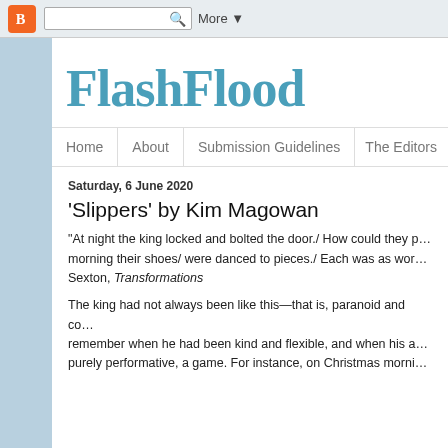Blogger toolbar with search and More button
FlashFlood
Home | About | Submission Guidelines | The Editors
Saturday, 6 June 2020
'Slippers' by Kim Magowan
“At night the king locked and bolted the door./ How could they p... morning their shoes/ were danced to pieces./ Each was as wor... Sexton, Transformations
The king had not always been like this—that is, paranoid and co... remember when he had been kind and flexible, and when his a... purely performative, a game. For instance, on Christmas morni...